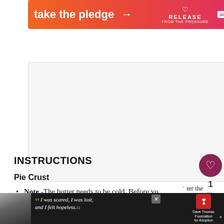[Figure (other): Orange-to-red gradient advertisement banner with text 'take the pledge', arrow, Release logo with heart, and ad tag]
[Figure (other): Gray empty advertisement placeholder area with watermark logo in bottom right]
INSTRUCTIONS
Pie Crust
Note -The butter needs to be cold. Before you begin making the dough, cut the butter into cubes and place in the freezer for at least 15minutes ahead of time.
[Figure (other): What's Next panel showing cupcake image with text 'Pumpkin Cupcakes wi...']
[Figure (other): Bottom advertisement bar with woman photo, quote 'I was scared, I was lost, and I felt hopeless.' and Dave Thomas Foundation for Adoption logo]